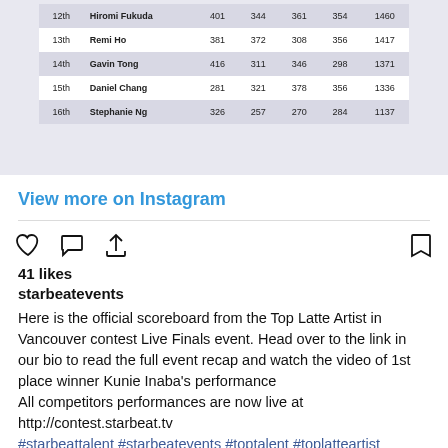[Figure (screenshot): Partial scoreboard table showing rows for 12th through 16th place competitors with scores]
View more on Instagram
[Figure (other): Instagram action icons: heart, comment, share, bookmark]
41 likes
starbeatevents
Here is the official scoreboard from the Top Latte Artist in Vancouver contest Live Finals event. Head over to the link in our bio to read the full event recap and watch the video of 1st place winner Kunie Inaba's performance
All competitors performances are now live at http://contest.starbeat.tv
#starbeattalent #starbeatevents #toptalent #toplatteartist #toplatteartistinvancouver #livefinals #scoreboard #latteart #contest #barista #baristalife #canadianbaristaacademy #thetrendybarista #coffee #coffeelover #espresso #winmoney